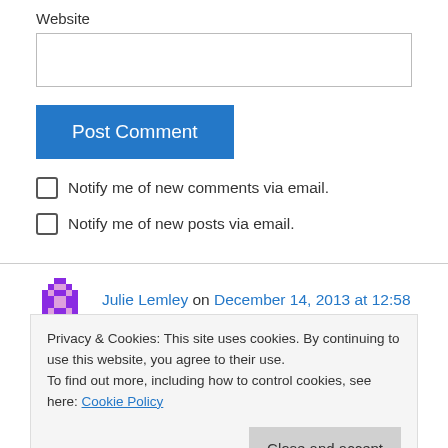Website
Post Comment
Notify me of new comments via email.
Notify me of new posts via email.
Julie Lemley on December 14, 2013 at 12:58
Privacy & Cookies: This site uses cookies. By continuing to use this website, you agree to their use.
To find out more, including how to control cookies, see here: Cookie Policy
Close and accept
week, because in Grade 6, our current model is